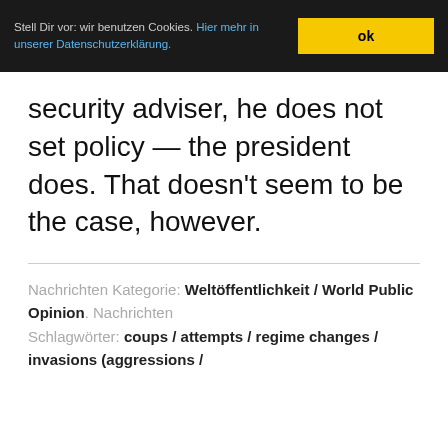Stell Dir vor: wir benutzen Cookies. Hier mehr in unserer Datenschutzerklärung. ok
security adviser, he does not set policy — the president does. That doesn't seem to be the case, however.
Nachrichten Kategorie: Weltöffentlichkeit / World Public Opinion. Nachrichten Schlagwörter: coups / attempts / regime changes / invasions (aggressions /